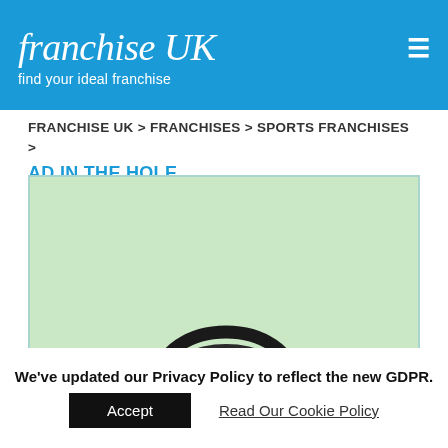franchise UK — find your ideal franchise
FRANCHISE UK > FRANCHISES > SPORTS FRANCHISES > AD IN THE HOLE
[Figure (photo): Close-up image of a golf hole on a green putting surface, showing the top edge of the cup against pale mint-green grass texture. The bottom portion shows the arc of the cup opening with a dark interior.]
We've updated our Privacy Policy to reflect the new GDPR.
Accept   Read Our Cookie Policy